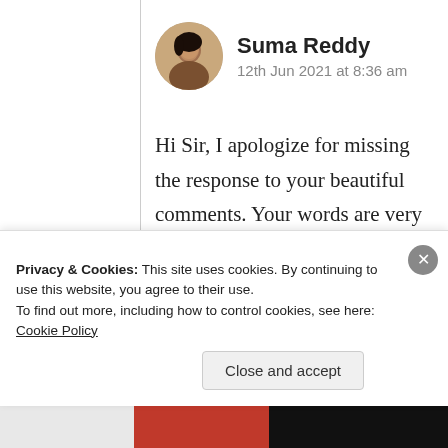[Figure (photo): Circular avatar photo of Suma Reddy]
Suma Reddy
12th Jun 2021 at 8:36 am
Hi Sir, I apologize for missing the response to your beautiful comments. Your words are very profound and added more beauty to the bathing “Rose and shining silver Moon”. My heart is filled with happy smiles with your lovely thoughts. Thank you very
Privacy & Cookies: This site uses cookies. By continuing to use this website, you agree to their use.
To find out more, including how to control cookies, see here: Cookie Policy
Close and accept